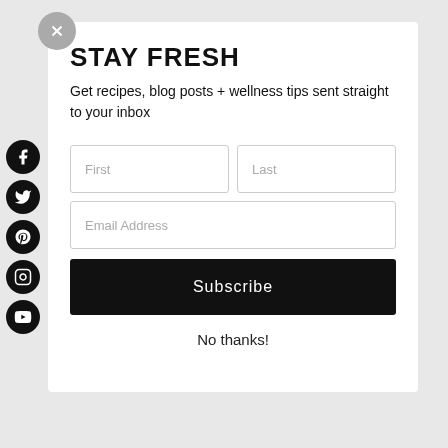STAY FRESH
Get recipes, blog posts + wellness tips sent straight to your inbox
[Figure (screenshot): Email subscription form with First, Last, Email Address fields and a Subscribe button]
No thanks!